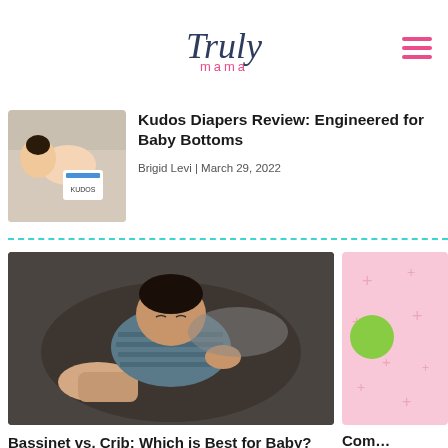Truly mama
Kudos Diapers Review: Engineered for Baby Bottoms
Brigid Levi | March 29, 2022
[Figure (photo): Thumbnail photo of baby with Kudos diaper packaging]
[Figure (photo): Close-up photo of sleeping newborn baby cradled in adult hands]
Bassinet vs. Crib: Which is Best for Baby?
Erin Heger | February 10, 2022
[Figure (photo): Partially visible pink background with plus signs pattern]
Com…
Brian… Janu…